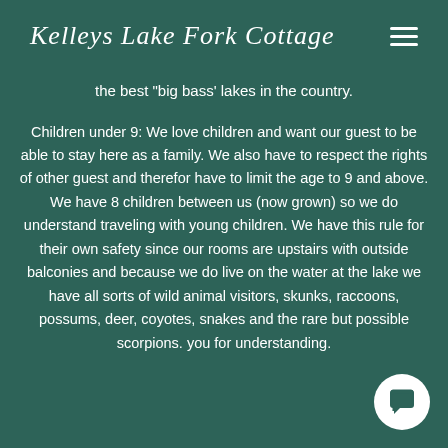Kelleys Lake Fork Cottage
the best "big bass' lakes in the country.
Children under 9: We love children and want our guest to be able to stay here as a family. We also have to respect the rights of other guest and therefor have to limit the age to 9 and above. We have 8 children between us (now grown) so we do understand traveling with young children. We have this rule for their own safety since our rooms are upstairs with outside balconies and because we do live on the water at the lake we have all sorts of wild animal visitors, skunks, raccoons, possums, deer, coyotes, snakes and the rare but possible scorpions. you for understanding.